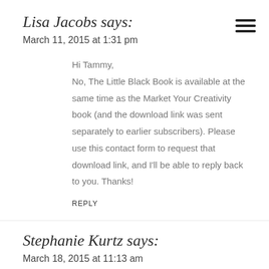Lisa Jacobs says:
March 11, 2015 at 1:31 pm
Hi Tammy,
No, The Little Black Book is available at the same time as the Market Your Creativity book (and the download link was sent separately to earlier subscribers). Please use this contact form to request that download link, and I'll be able to reply back to you. Thanks!
REPLY
Stephanie Kurtz says:
March 18, 2015 at 11:13 am